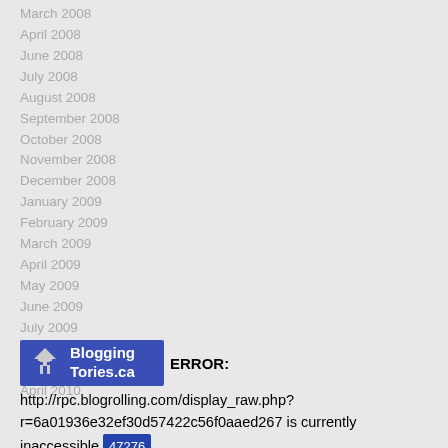March 2008
April 2008
June 2008
July 2008
August 2008
September 2008
October 2008
November 2008
December 2008
January 2009
February 2009
March 2009
April 2009
May 2009
June 2009
July 2009
August 2009
October 2009
April 2010
[Figure (logo): Blogging Tories.ca logo badge — blue rectangle with white building icon and white bold text]
ERROR: http://rpc.blogrolling.com/display_raw.php?r=6a01936e32ef30d57422c56f0aaed267 is currently inaccessible 47276